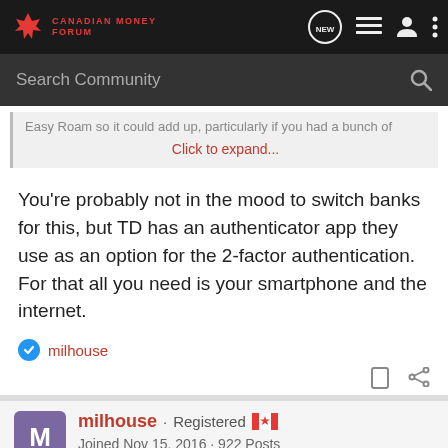Canadian Money Forum
Easy Roam so it could add up, particularly if you had a bunch of
Click to expand...
You're probably not in the mood to switch banks for this, but TD has an authenticator app they use as an option for the 2-factor authentication. For that all you need is your smartphone and the internet.
milhouse
milhouse · Registered
Joined Nov 15, 2016 · 922 Posts
#778 · Jun 23, 2022